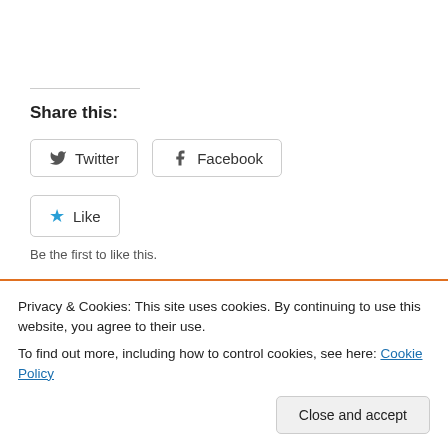Share this:
Twitter
Facebook
Like
Be the first to like this.
PREVIOUS
Privacy & Cookies: This site uses cookies. By continuing to use this website, you agree to their use.
To find out more, including how to control cookies, see here: Cookie Policy
Close and accept